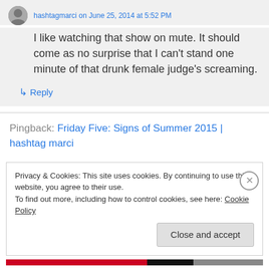hashtagmarci on June 25, 2014 at 5:52 PM
I like watching that show on mute. It should come as no surprise that I can't stand one minute of that drunk female judge's screaming.
↳ Reply
Pingback: Friday Five: Signs of Summer 2015 | hashtag marci
Privacy & Cookies: This site uses cookies. By continuing to use this website, you agree to their use.
To find out more, including how to control cookies, see here: Cookie Policy
Close and accept